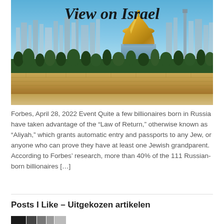[Figure (photo): Panoramic view of Jerusalem showing the Dome of the Rock with golden dome and city buildings against a blue sky, with text 'View on Israel' overlaid at the top]
Forbes, April 28, 2022 Event Quite a few billionaires born in Russia have taken advantage of the “Law of Return,” otherwise known as “Aliyah,” which grants automatic entry and passports to any Jew, or anyone who can prove they have at least one Jewish grandparent. According to Forbes’ research, more than 40% of the 111 Russian-born billionaires […]
Posts I Like – Uitgekozen artikelen
[Figure (photo): Partial black and white photo strip at bottom of page]